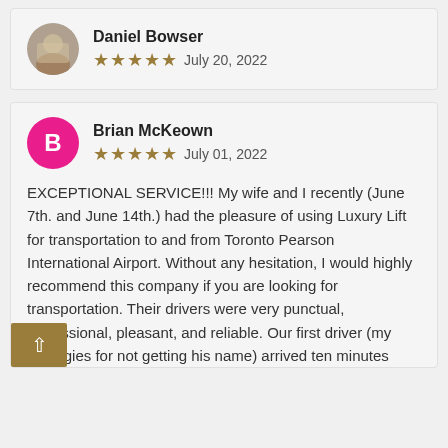Daniel Bowser
★★★★★ July 20, 2022
Brian McKeown
★★★★★ July 01, 2022
EXCEPTIONAL SERVICE!!! My wife and I recently (June 7th. and June 14th.) had the pleasure of using Luxury Lift for transportation to and from Toronto Pearson International Airport. Without any hesitation, I would highly recommend this company if you are looking for transportation. Their drivers were very punctual, professional, pleasant, and reliable. Our first driver (my apologies for not getting his name) arrived ten minutes